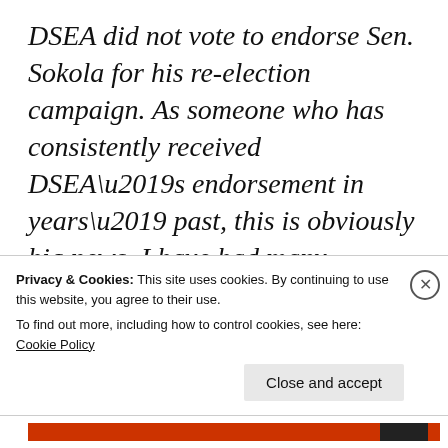DSEA did not vote to endorse Sen. Sokola for his re-election campaign. As someone who has consistently received DSEA’s endorsement in years’ past, this is obviously big news. I have had many concerns — and shared them publicly — with Sen. Sokola’s positions on education. I think many others have, as well. And that’s why DSEA chose the route it did during the election season this year.
Privacy & Cookies: This site uses cookies. By continuing to use this website, you agree to their use.
To find out more, including how to control cookies, see here: Cookie Policy